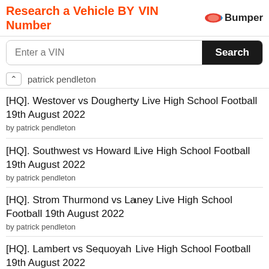[Figure (screenshot): Advertisement banner for Bumper VIN lookup tool with orange text 'Research a Vehicle BY VIN Number' and Bumper logo, plus a search bar with 'Enter a VIN' placeholder and black Search button]
patrick pendleton
[HQ]. Westover vs Dougherty Live High School Football 19th August 2022
by patrick pendleton
[HQ]. Southwest vs Howard Live High School Football 19th August 2022
by patrick pendleton
[HQ]. Strom Thurmond vs Laney Live High School Football 19th August 2022
by patrick pendleton
[HQ]. Lambert vs Sequoyah Live High School Football 19th August 2022
by patrick pendleton
[HQ]. Woodstock vs Osborne Live High School Football 19th August 2022
by patrick pendleton